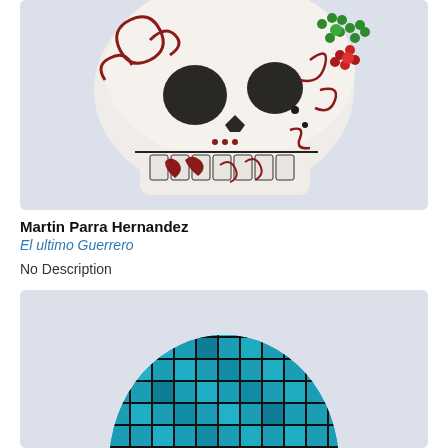[Figure (photo): A colorfully decorated sugar skull (calavera) with white base, red/dark red floral and ornamental patterns, green and red beaded flower on the right side, and tooth-like lower jaw, photographed against a light grey-blue background. The skull is shown from a 3/4 angle.]
Martin Parra Hernandez
El ultimo Guerrero
No Description
[Figure (photo): A turquoise/blue mosaic-tiled skull (calavera) with dark grout lines between the square tiles, photographed against a light grey-blue background. Only the top and upper half of the skull is visible, shown from above at a slight angle.]